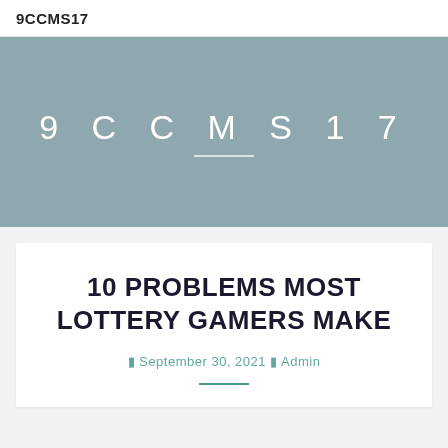9CCMS17
[Figure (logo): Hero banner with pale blue-grey background displaying the text '9 C C M S 1 7' in large spaced white letters with a short white underline beneath.]
10 PROBLEMS MOST LOTTERY GAMERS MAKE
September 30, 2021  Admin